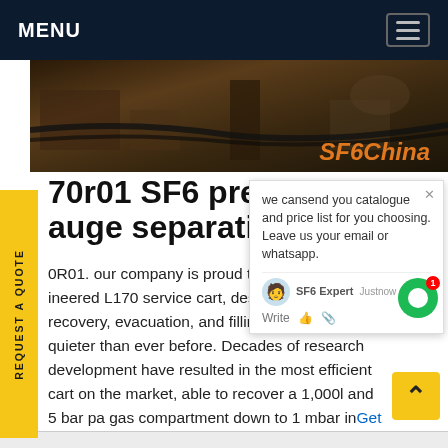MENU
[Figure (photo): Hero image of industrial/warehouse scene with SF6China branding in orange text]
70r01 SF6 pressure gauge separating unit
0R01. our company is proud to t... e-ineered L170 service cart, design... SF 6 recovery, evacuation, and filling faster, easier, quieter than ever before. Decades of research development have resulted in the most efficient cart on the market, able to recover a 1,000l and 5 bar pa gas compartment down to 1 mbar in Get price
we cansend you catalogue and price list for you choosing. Leave us your email or whatsapp.